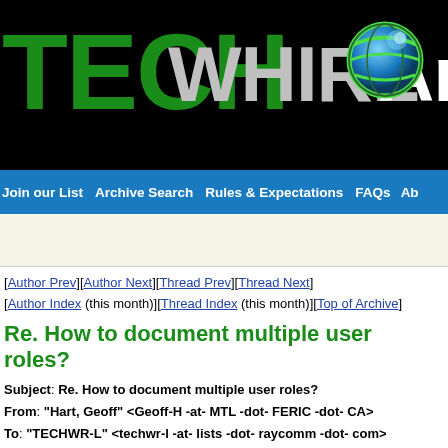[Figure (logo): TechWhirl Archive logo banner with green TECH text, grey WHIRL text, globe graphic, and white Ar text on black background]
Join our List  Archive Search  Rules & Expectations  FAQs  Ab
[Author Prev][Author Next][Thread Prev][Thread Next]
[Author Index (this month)][Thread Index (this month)][Top of Archive]
Re. How to document multiple user roles?
Subject: Re. How to document multiple user roles?
From: "Hart, Geoff" <Geoff-H -at- MTL -dot- FERIC -dot- CA>
To: "TECHWR-L" <techwr-l -at- lists -dot- raycomm -dot- com>
Date: Thu, 4 Oct 2001 08:40:31 -0400
Writer Whirler wonders: <<I am writing a user guide for an application whose users can have one of three levels of permissions: A, A+B, or A+B+C. The business wants me to write one user guide that incorporates all functions, instead of three separate guides, which is fine with me... How much should I explain the three roles a user can have?>>